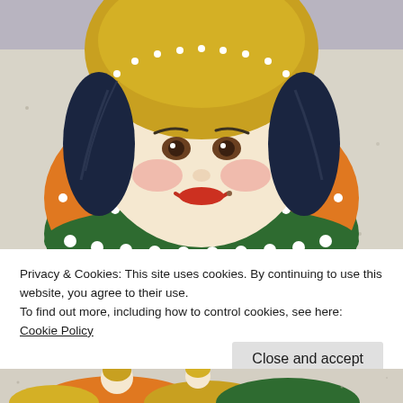[Figure (photo): Close-up photograph of a painted Russian matryoshka (nesting) doll with an orange and green body, yellow headscarf with white dots, dark hair, and a smiling face with rosy cheeks and red lips, set against a light speckled background.]
Privacy & Cookies: This site uses cookies. By continuing to use this website, you agree to their use.
To find out more, including how to control cookies, see here: Cookie Policy
[Figure (photo): Partial view of another painted doll or figurine at the bottom of the page, showing colorful details against a speckled background.]